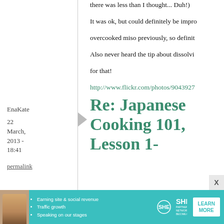there was less than I thought... Duh!)

It was ok, but could definitely be improved. overcooked miso previously, so definitely. Also never heard the tip about dissolving for that!

http://www.flickr.com/photos/9043927
EnaKate
22 March, 2013 - 18:41
permalink
Re: Japanese Cooking 101, Lesson 1-
[Figure (other): Advertisement banner for SHE Partner Network. Shows a woman's photo, bullet points: Earning site & social revenue, Traffic growth, Speaking on our stages. SHE PARTNER NETWORK BECOME A MEMBER logo. LEARN MORE button. X close button.]